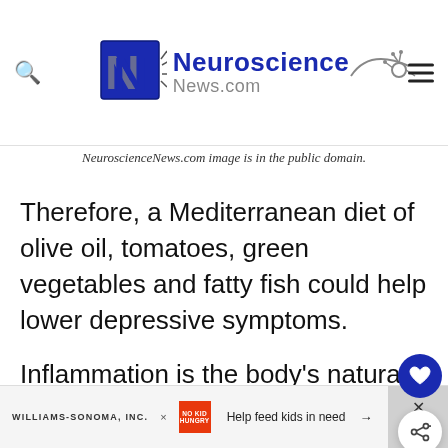[Figure (logo): Neuroscience News.com logo with stylized NN letters and neuron graphic]
NeuroscienceNews.com image is in the public domain.
Therefore, a Mediterranean diet of olive oil, tomatoes, green vegetables and fatty fish could help lower depressive symptoms.
Inflammation is the body’s natural defense system against infections, injuries and toxins. In order to protect itself from harm, the body releases proteins, antibodies and increased bl... (continues)
WILLIAMS-SONOMA, INC. × NO KID HUNGRY – Help feed kids in need →